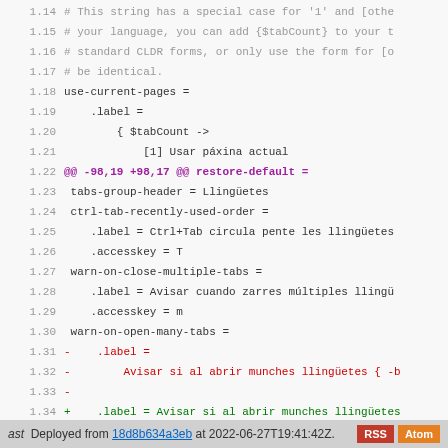[Figure (screenshot): Code diff view showing lines 1.14–1.42 of a configuration file with diff additions and deletions, in a monospace code viewer with colored diff highlighting.]
ast  Deployed from 18d8b634a3eb at 2022-06-27T19:41:42Z.  RSS  Atom